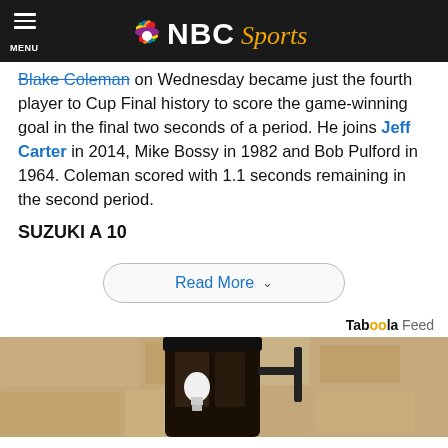NBC Sports — MENU
Blake Coleman on Wednesday became just the fourth player to Cup Final history to score the game-winning goal in the final two seconds of a period. He joins Jeff Carter in 2014, Mike Bossy in 1982 and Bob Pulford in 1964. Coleman scored with 1.1 seconds remaining in the second period.
SUZUKI A 10
Read More
Taboola Feed
[Figure (photo): Close-up photograph of an outdoor wall lantern fixture with a light bulb visible, mounted on a stone or textured stucco wall.]